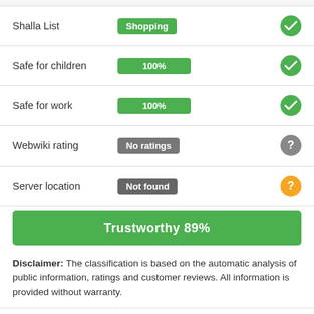| Property | Value | Status |
| --- | --- | --- |
| Shalla List | Shopping | check |
| Safe for children | 100% | check |
| Safe for work | 100% | check |
| Webwiki rating | No ratings | question-gray |
| Server location | Not found | question-orange |
Trustworthy 89%
Disclaimer: The classification is based on the automatic analysis of public information, ratings and customer reviews. All information is provided without warranty.
For webmasters: Add a Webwiki button with the current rating to your website!
[Figure (illustration): Partial blue oval badge showing 'omer Re...' (Customer Reviews badge, cropped at bottom)]